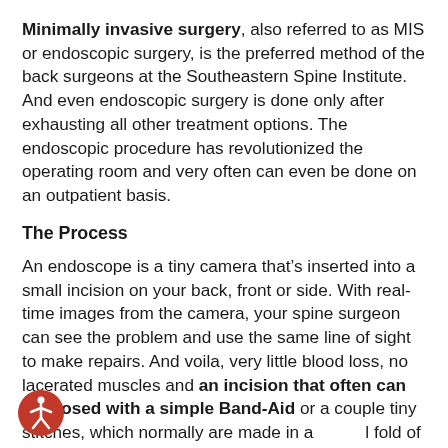Minimally invasive surgery, also referred to as MIS or endoscopic surgery, is the preferred method of the back surgeons at the Southeastern Spine Institute. And even endoscopic surgery is done only after exhausting all other treatment options. The endoscopic procedure has revolutionized the operating room and very often can even be done on an outpatient basis.
The Process
An endoscope is a tiny camera that’s inserted into a small incision on your back, front or side. With real-time images from the camera, your spine surgeon can see the problem and use the same line of sight to make repairs. And voila, very little blood loss, no lacerated muscles and an incision that often can be closed with a simple Band-Aid or a couple tiny stitches, which normally are made in a natural fold of your skin.
[Figure (illustration): Red circular accessibility icon with white stick figure person in center, located at bottom-left of page.]